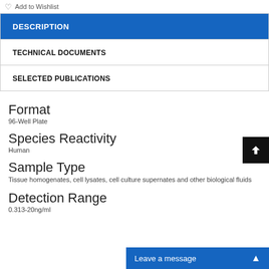Add to Wishlist
DESCRIPTION
TECHNICAL DOCUMENTS
SELECTED PUBLICATIONS
Format
96-Well Plate
Species Reactivity
Human
Sample Type
Tissue homogenates, cell lysates, cell culture supernates and other biological fluids
Detection Range
0.313-20ng/ml
Leave a message